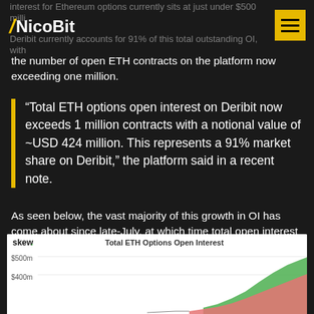NicoBit
interest for Ethereum options currently sits at just under $500 million. Deribit currently accounts for 91% of this total outstanding OI, with the number of open ETH contracts on the platform now exceeding one million.
“Total ETH options open interest on Deribit now exceeds 1 million contracts with a notional value of ~USD 424 million. This represents a 91% market share on Deribit,” the platform said in a recent note.
As seen below, the vast majority of this growth in OI has come about since late-July, at which time total open interest for Ethereum options was sitting below $200 million.
[Figure (area-chart): Area chart showing Total ETH Options Open Interest from skew, with y-axis labels $500m and $400m visible. Green and red/pink filled areas rise steeply toward right side of chart.]